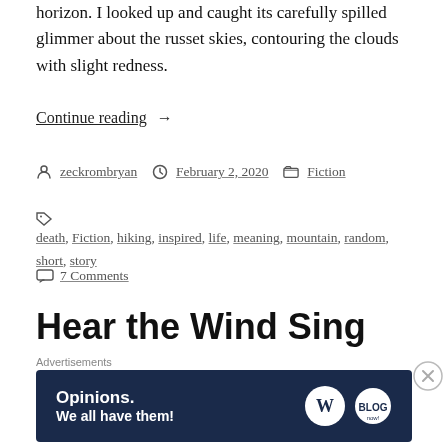horizon. I looked up and caught its carefully spilled glimmer about the russet skies, contouring the clouds with slight redness.
Continue reading  →
By zeckrombryan   February 2, 2020   Fiction
death, Fiction, hiking, inspired, life, meaning, mountain, random, short, story
7 Comments
Hear the Wind Sing by Haruki Murakami (Book Review)
[Figure (other): WordPress advertisement banner with text 'Opinions. We all have them!' and WordPress and Blog logos on dark navy background]